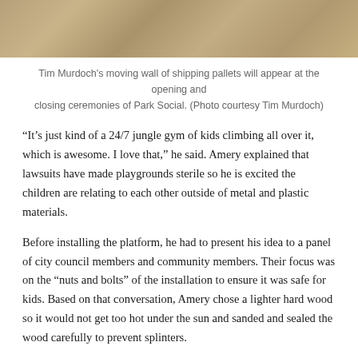[Figure (photo): A wooden wall or surface made of shipping pallets, showing a textured pattern of wood planks in earthy brown tones.]
Tim Murdoch's moving wall of shipping pallets will appear at the opening and closing ceremonies of Park Social. (Photo courtesy Tim Murdoch)
“It’s just kind of a 24/7 jungle gym of kids climbing all over it, which is awesome. I love that,” he said. Amery explained that lawsuits have made playgrounds sterile so he is excited the children are relating to each other outside of metal and plastic materials.
Before installing the platform, he had to present his idea to a panel of city council members and community members. Their focus was on the “nuts and bolts” of the installation to ensure it was safe for kids. Based on that conversation, Amery chose a lighter hard wood so it would not get too hot under the sun and sanded and sealed the wood carefully to prevent splinters.